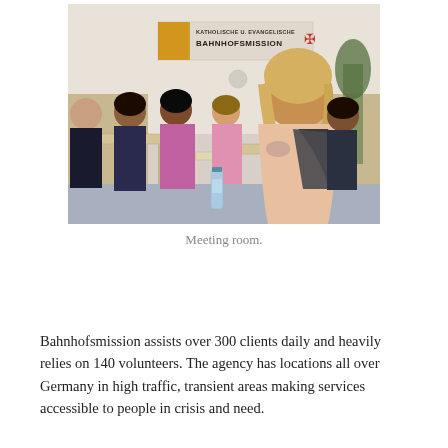[Figure (photo): Group of women seated around tables in a meeting room with a sign reading 'KATHOLISCHE U. EVANGELISCHE BAHNHOFSMISSION' on the wall behind them. A bottle of water is on the table in the foreground.]
Meeting room.
Bahnhofsmission assists over 300 clients daily and heavily relies on 140 volunteers. The agency has locations all over Germany in high traffic, transient areas making services accessible to people in crisis and need.